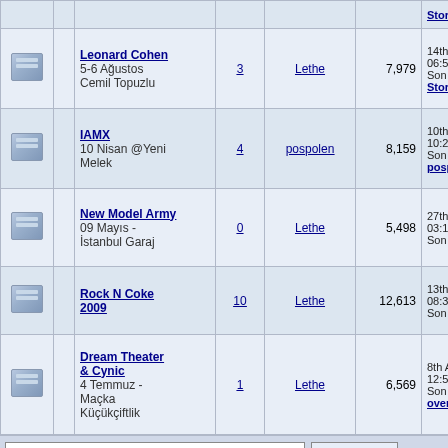|  |  | Başlık | Yanıt | Yazan | Görüntülenme | Son İleti |
| --- | --- | --- | --- | --- | --- | --- |
|  |  | Stormcry |  |  |  |  |
|  |  | Leonard Cohen
5-6 Ağustos Cemil Topuzlu | 3 | Lethe | 7,979 | 14th May 20 06:55 PM Son İleti: Stormcry |
|  |  | IAMX
10 Nisan @Yeni Melek | 4 | pospolen | 8,159 | 10th May 20 10:25 PM Son İleti: pospolen |
|  |  | New Model Army
09 Mayıs - İstanbul Garaj | 0 | Lethe | 5,498 | 27th April 20 03:17 PM Son İleti: Let |
|  |  | Rock N Coke 2009 | 10 | Lethe | 12,613 | 13th April 20 08:34 PM Son İleti: has |
|  |  | Dream Theater & Cynic
4 Temmuz - Maçka Küçükçiftlik | 1 | Lethe | 6,569 | 8th April 200 12:52 PM Son İleti: overseas |